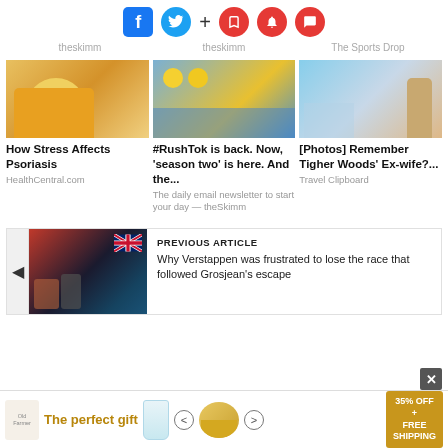[Figure (screenshot): Top navigation bar with social media icons: Facebook (blue square), Twitter (blue circle), plus sign, and three red circular icons (bookmark, bell, comment)]
theskimm   theskimm   The Sports Drop
[Figure (photo): Woman in yellow sweater scratching arm - article about stress and psoriasis]
How Stress Affects Psoriasis
HealthCentral.com
[Figure (photo): Children with yellow hats at festival - RushTok article]
#RushTok is back. Now, 'season two' is here. And the...
The daily email newsletter to start your day — theSkimm
[Figure (photo): Woman in bikini on beach - Tiger Woods ex-wife article]
[Photos] Remember Tigher Woods' Ex-wife?...
Travel Clipboard
[Figure (photo): Two racing drivers on podium with UK flag in background - Verstappen and Hamilton]
PREVIOUS ARTICLE
Why Verstappen was frustrated to lose the race that followed Grosjean's escape
[Figure (photo): Advertisement banner: The perfect gift - food delivery service with 35% OFF + FREE SHIPPING]